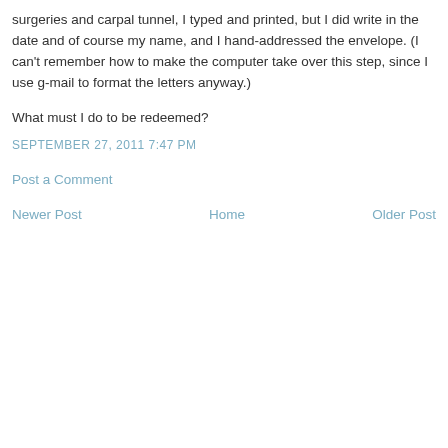surgeries and carpal tunnel, I typed and printed, but I did write in the date and of course my name, and I hand-addressed the envelope. (I can't remember how to make the computer take over this step, since I use g-mail to format the letters anyway.)
What must I do to be redeemed?
SEPTEMBER 27, 2011 7:47 PM
Post a Comment
Newer Post
Home
Older Post